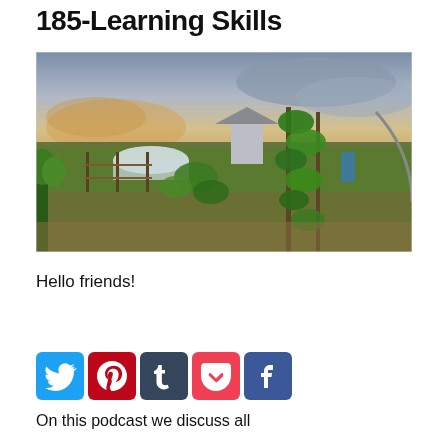185-Learning Skills
[Figure (photo): Outdoor garden scene with lush green plants, trellis, a round barn/silo structure in the background, open farmland, and a dramatic cloudy sky at dusk]
Hello friends!
[Figure (infographic): Social media share icons: Twitter (blue), Pinterest (red), Tumblr (dark blue-grey), Pocket (pink/red), Facebook (blue)]
On this podcast we discuss all